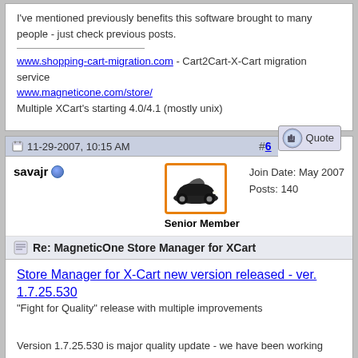I've mentioned previously benefits this software brought to many people - just check previous posts.
www.shopping-cart-migration.com - Cart2Cart-X-Cart migration service
www.magneticone.com/store/
Multiple XCart's starting 4.0/4.1 (mostly unix)
11-29-2007, 10:15 AM
#6
savajr
Join Date: May 2007
Posts: 140
Senior Member
Re: MagneticOne Store Manager for XCart
Store Manager for X-Cart new version released - ver. 1.7.25.530
"Fight for Quality" release with multiple improvements
Version 1.7.25.530 is major quality update - we have been working hard to improve multiple aspects of day to day operations, made multiple improvements and changes to make life of average online merchant easier and save even more time for you!
1. X-Cart ver. 4.1.9 supported